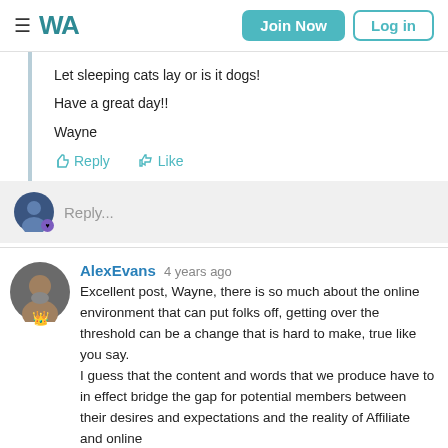WA — Join Now | Log in
Let sleeping cats lay or is it dogs!

Have a great day!!

Wayne
Reply... Like
Reply...
AlexEvans  4 years ago
Excellent post, Wayne, there is so much about the online environment that can put folks off, getting over the threshold can be a change that is hard to make, true like you say.
I guess that the content and words that we produce have to in effect bridge the gap for potential members between their desires and expectations and the reality of Affiliate and online